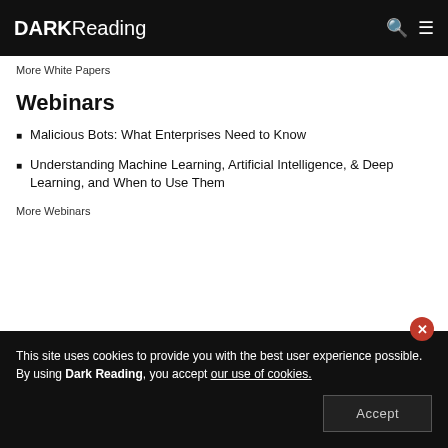DARK Reading
More White Papers
Webinars
Malicious Bots: What Enterprises Need to Know
Understanding Machine Learning, Artificial Intelligence, & Deep Learning, and When to Use Them
More Webinars
This site uses cookies to provide you with the best user experience possible. By using Dark Reading, you accept our use of cookies.